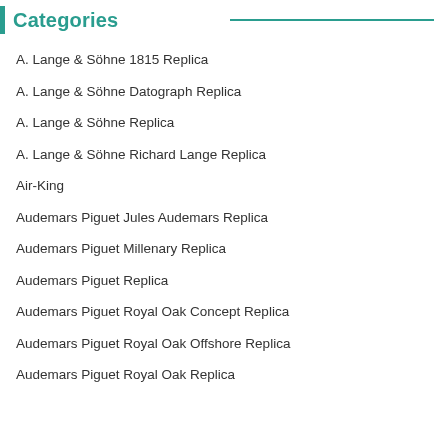Categories
A. Lange & Söhne 1815 Replica
A. Lange & Söhne Datograph Replica
A. Lange & Söhne Replica
A. Lange & Söhne Richard Lange Replica
Air-King
Audemars Piguet Jules Audemars Replica
Audemars Piguet Millenary Replica
Audemars Piguet Replica
Audemars Piguet Royal Oak Concept Replica
Audemars Piguet Royal Oak Offshore Replica
Audemars Piguet Royal Oak Replica